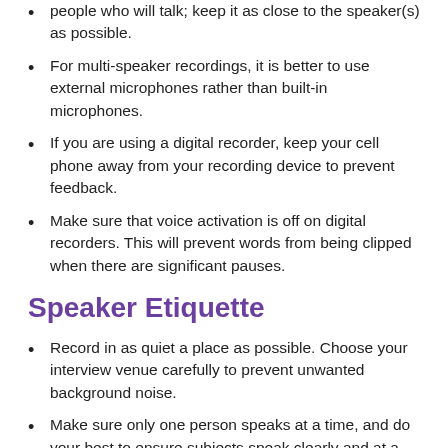people who will talk; keep it as close to the speaker(s) as possible.
For multi-speaker recordings, it is better to use external microphones rather than built-in microphones.
If you are using a digital recorder, keep your cell phone away from your recording device to prevent feedback.
Make sure that voice activation is off on digital recorders. This will prevent words from being clipped when there are significant pauses.
Speaker Etiquette
Record in as quiet a place as possible. Choose your interview venue carefully to prevent unwanted background noise.
Make sure only one person speaks at a time, and do your best to ensure subjects speak clearly and at a steady pace.
When conducting a panel or round table discussion, it is